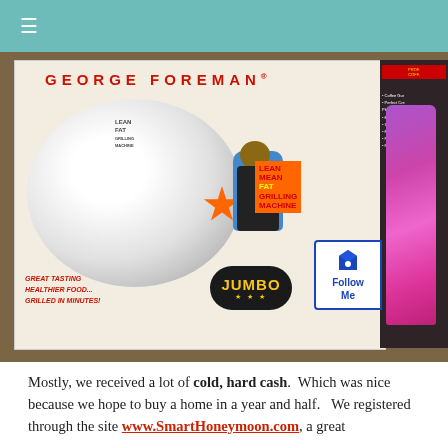≡
[Figure (photo): Photo of a George Foreman Lean Mean Fat Grilling Machine Jumbo grill box on a table, next to another dark appliance box with a purple bottle visible. The box shows the grill lid, the brand name GEORGE FOREMAN in red letters, slogans including GREAT TASTING HEALTHIER FOOD GRILLED IN MINUTES, and a JUMBO badge.]
Mostly, we received a lot of cold, hard cash.  Which was nice because we hope to buy a home in a year and half.   We registered through the site www.SmartHoneymoon.com, a great